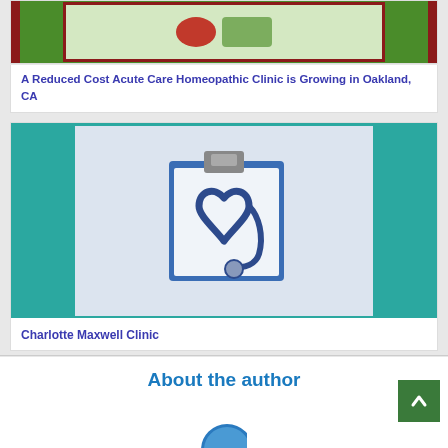[Figure (photo): Top card image showing homeopathic/naturopathic items with red and green border]
A Reduced Cost Acute Care Homeopathic Clinic is Growing in Oakland, CA
[Figure (photo): Stethoscope shaped into a heart on a clipboard, with teal side panels]
Charlotte Maxwell Clinic
About the author